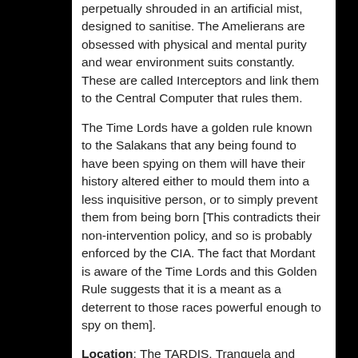perpetually shrouded in an artificial mist, designed to sanitise. The Amelierans are obsessed with physical and mental purity and wear environment suits constantly. These are called Interceptors and link them to the Central Computer that rules them.
The Time Lords have a golden rule known to the Salakans that any being found to have been spying on them will have their history altered either to mould them into a less inquisitive person, or to simply prevent them from being born [This contradicts their non-intervention policy, and so is probably enforced by the CIA. The fact that Mordant is aware of the Time Lords and this Golden Rule suggests that it is a meant as a deterrent to those races powerful enough to spy on them].
Location: The TARDIS, Tranquela and Ameliera, and Mordant's ship, date unknown.
Unrecorded Adventures: The Doctor is aware of the Salakans and has encountered Mordant before, when he was given the Holiday Ball (he was under the impression that...and the doctor was able to...